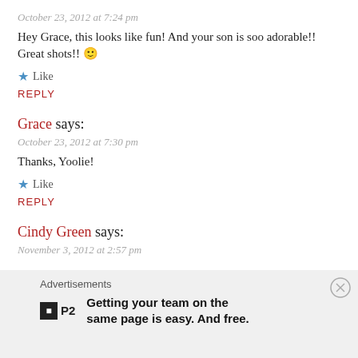October 23, 2012 at 7:24 pm
Hey Grace, this looks like fun! And your son is soo adorable!! Great shots!! 🙂
★ Like
REPLY
Grace says:
October 23, 2012 at 7:30 pm
Thanks, Yoolie!
★ Like
REPLY
Cindy Green says:
November 3, 2012 at 2:57 pm
Advertisements
Getting your team on the same page is easy. And free.